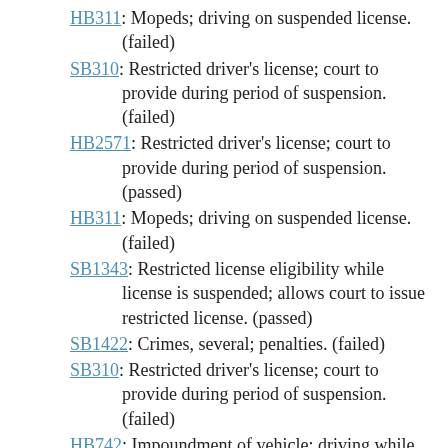HB311: Mopeds; driving on suspended license. (failed)
SB310: Restricted driver's license; court to provide during period of suspension. (failed)
HB2571: Restricted driver's license; court to provide during period of suspension. (passed)
HB311: Mopeds; driving on suspended license. (failed)
SB1343: Restricted license eligibility while license is suspended; allows court to issue restricted license. (passed)
SB1422: Crimes, several; penalties. (failed)
SB310: Restricted driver's license; court to provide during period of suspension. (failed)
HB742: Impoundment of vehicle; driving while license suspended for DUI. (passed)
HB1214: Suspended license; when court may reduce charge. (failed)
HB1862: Driver's license; suspension for nonpayment of fines or costs. (failed)
HB2467: Driving on a suspended or revoked license;